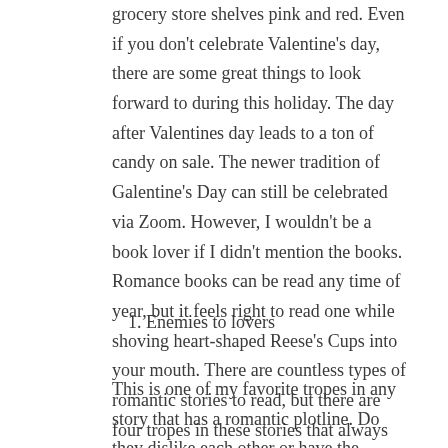grocery store shelves pink and red. Even if you don't celebrate Valentine's day, there are some great things to look forward to during this holiday. The day after Valentines day leads to a ton of candy on sale. The newer tradition of Galentine's Day can still be celebrated via Zoom. However, I wouldn't be a book lover if I didn't mention the books. Romance books can be read any time of year, but it feels right to read one while shoving heart-shaped Reese's Cups into your mouth. There are countless types of romantic stories to read, but there are four tropes in these stories that always get me invested and excited.
1. Enemies to lovers
This is one of my favorite tropes in any story that has a romantic plotline. Do they dislike each other or have the